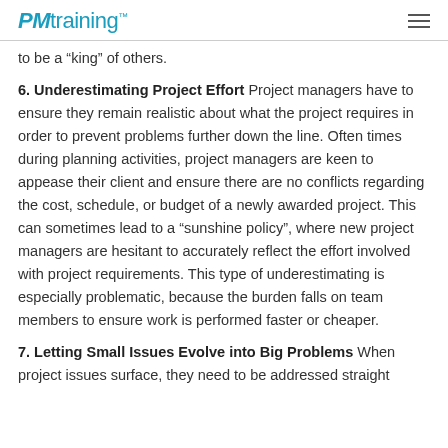PMtraining
to be a “king” of others.
6. Underestimating Project Effort Project managers have to ensure they remain realistic about what the project requires in order to prevent problems further down the line. Often times during planning activities, project managers are keen to appease their client and ensure there are no conflicts regarding the cost, schedule, or budget of a newly awarded project. This can sometimes lead to a “sunshine policy”, where new project managers are hesitant to accurately reflect the effort involved with project requirements. This type of underestimating is especially problematic, because the burden falls on team members to ensure work is performed faster or cheaper.
7. Letting Small Issues Evolve into Big Problems When project issues surface, they need to be addressed straight